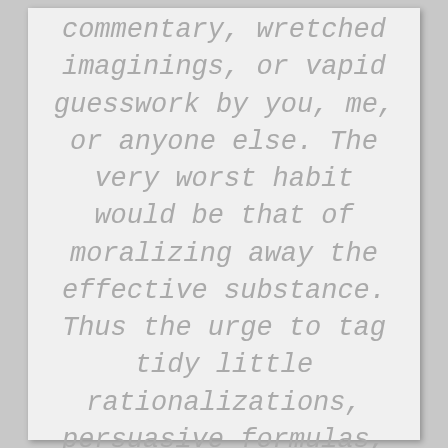commentary, wretched imaginings, or vapid guesswork by you, me, or anyone else. The very worst habit would be that of moralizing away the effective substance. Thus the urge to tag tidy little rationalizations, persuasive formulas, intellectual summaries, symbolical labels, or nay other convenient pigeon-holing device, mus be steadfastly resisted. Mental encapsulation perverts the medecine, rendering it impotent. It amount to a bypass around the story's true destination; to explain away is to